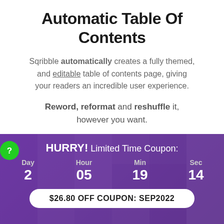Automatic Table Of Contents
Sqribble automatically creates a fully themed, and editable table of contents page, giving your readers an incredible user experience.
Reword, reformat and reshuffle it, however you want.
[Figure (infographic): Green circular question mark button on the left side]
[Figure (infographic): Purple-tinted promotional banner with mosaic of faces in background. Contains countdown timer showing Day 2, Hour 05, Min 19, Sec 14, and coupon pill showing $26.80 OFF COUPON: SEP2022. Header reads HURRY! Limited Time Coupon:]